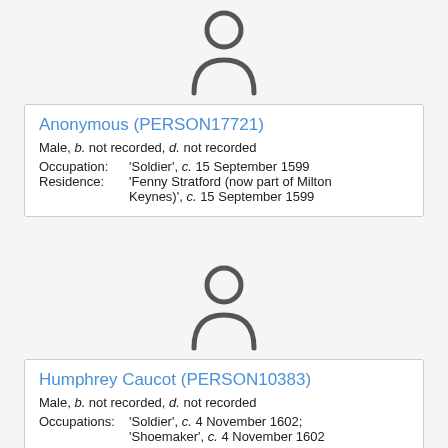[Figure (illustration): Generic person silhouette icon (grey outline of head and shoulders)]
Anonymous (PERSON17721)
Male, b. not recorded, d. not recorded
Occupation: 'Soldier', c. 15 September 1599
Residence: 'Fenny Stratford (now part of Milton Keynes)', c. 15 September 1599
[Figure (illustration): Generic person silhouette icon (grey outline of head and shoulders)]
Humphrey Caucot (PERSON10383)
Male, b. not recorded, d. not recorded
Occupations: 'Soldier', c. 4 November 1602; 'Shoemaker', c. 4 November 1602